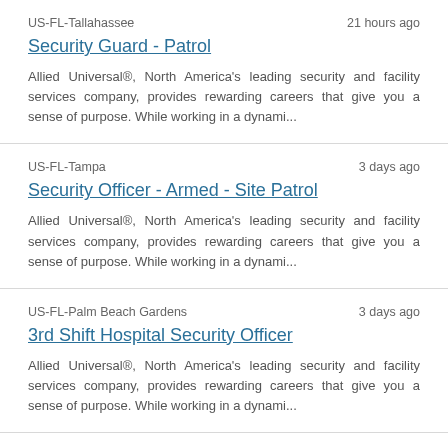US-FL-Tallahassee | 21 hours ago
Security Guard - Patrol
Allied Universal®, North America's leading security and facility services company, provides rewarding careers that give you a sense of purpose. While working in a dynami...
US-FL-Tampa | 3 days ago
Security Officer - Armed - Site Patrol
Allied Universal®, North America's leading security and facility services company, provides rewarding careers that give you a sense of purpose. While working in a dynami...
US-FL-Palm Beach Gardens | 3 days ago
3rd Shift Hospital Security Officer
Allied Universal®, North America's leading security and facility services company, provides rewarding careers that give you a sense of purpose. While working in a dynami...